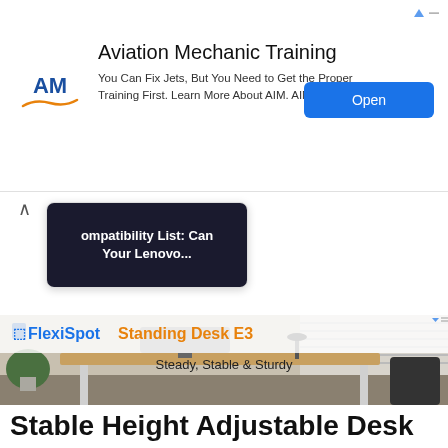[Figure (screenshot): Aviation Mechanic Training advertisement banner with AM logo, text 'You Can Fix Jets, But You Need to Get the Proper Training First. Learn More About AIM. AIM Institute', and a blue Open button]
[Figure (screenshot): Dropdown overlay showing thumbnail with text 'Compatibility List: Can Your Lenovo...' on dark background, with up arrow indicator]
[Figure (screenshot): FlexiSpot Standing Desk E3 advertisement with office desk photo, tagline 'Steady, Stable & Sturdy']
Stable Height Adjustable Desk